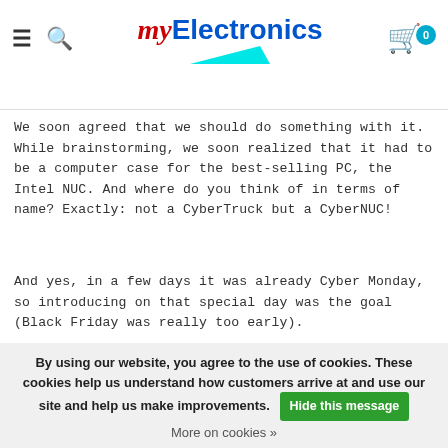MyElectronics — navigation header with hamburger menu, search icon, logo, and cart (0 items)
We soon agreed that we should do something with it. While brainstorming, we soon realized that it had to be a computer case for the best-selling PC, the Intel NUC. And where do you think of in terms of name? Exactly: not a CyberTruck but a CyberNUC!
And yes, in a few days it was already Cyber Monday, so introducing on that special day was the goal (Black Friday was really too early).
IT WAS COFFEE TIME, WEDNESDAY, NOVEMBER 27 AND ALL WE HAD WAS A GOOD IDEA. CYBER
By using our website, you agree to the use of cookies. These cookies help us understand how customers arrive at and use our site and help us make improvements. Hide this message
More on cookies »